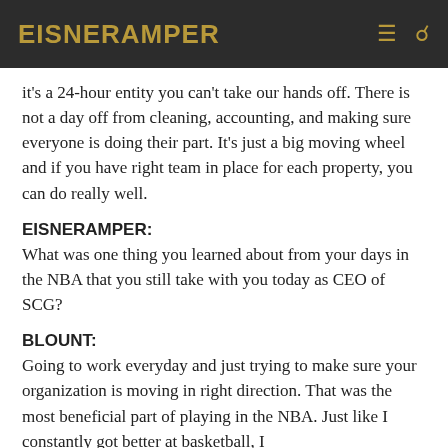EisnerAmper
it's a 24-hour entity you can't take our hands off. There is not a day off from cleaning, accounting, and making sure everyone is doing their part. It's just a big moving wheel and if you have right team in place for each property, you can do really well.
EISNERAMPER:
What was one thing you learned about from your days in the NBA that you still take with you today as CEO of SCG?
BLOUNT:
Going to work everyday and just trying to make sure your organization is moving in right direction. That was the most beneficial part of playing in the NBA. Just like I constantly got better at basketball, I